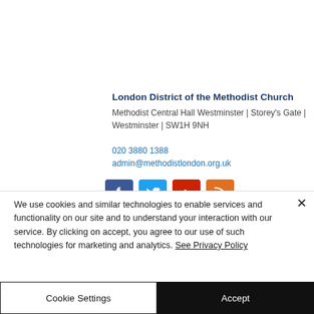London District of the Methodist Church
Methodist Central Hall Westminster | Storey's Gate | Westminster | SW1H 9NH

020 3880 1388
admin@methodistlondon.org.uk
[Figure (other): Four social media icons: Facebook (blue), Twitter (light blue), YouTube (red), RSS (orange)]
We use cookies and similar technologies to enable services and functionality on our site and to understand your interaction with our service. By clicking on accept, you agree to our use of such technologies for marketing and analytics. See Privacy Policy